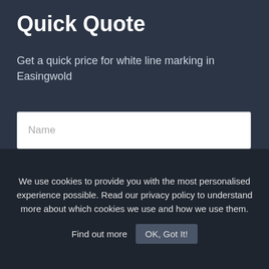Quick Quote
Get a quick price for white line marking in Easingwold
Name
Email
Phone
Postcode
We use cookies to provide you with the most personalised experience possible. Read our privacy policy to understand more about which cookies we use and how we use them. Find out more  OK, Got It!